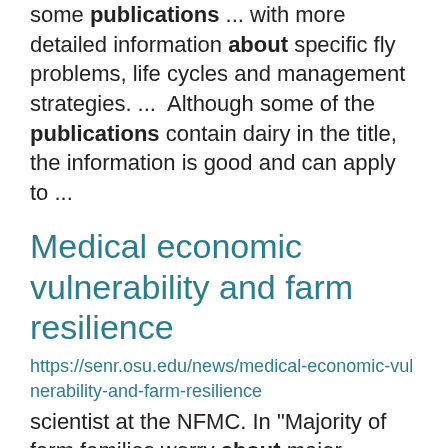some publications ... with more detailed information about specific fly problems, life cycles and management strategies. ...  Although some of the publications contain dairy in the title, the information is good and can apply to ...
Medical economic vulnerability and farm resilience
https://senr.osu.edu/news/medical-economic-vulnerability-and-farm-resilience
scientist at the NFMC. In "Majority of farm families worry about major medical expenses, and it could ... that leads to medical debt would have on the farm